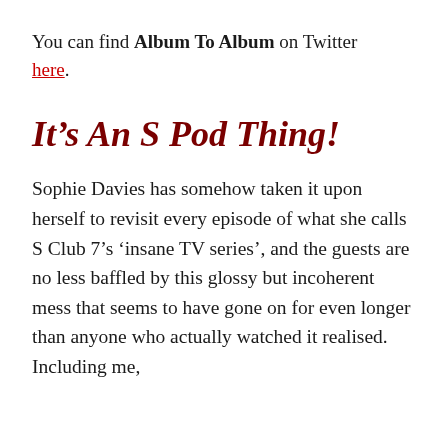You can find Album To Album on Twitter here.
It’s An S Pod Thing!
Sophie Davies has somehow taken it upon herself to revisit every episode of what she calls S Club 7’s ‘insane TV series’, and the guests are no less baffled by this glossy but incoherent mess that seems to have gone on for even longer than anyone who actually watched it realised. Including me,